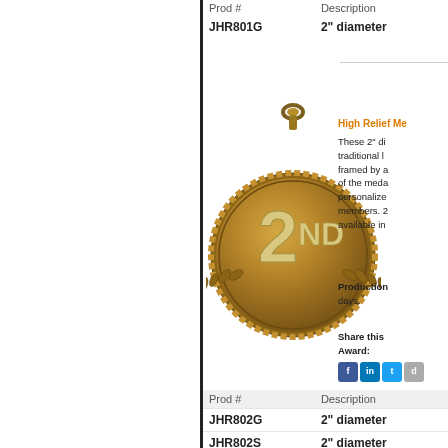| Prod # | Description |
| --- | --- |
| JHR801G | 2" diameter |
[Figure (photo): 2nd place medal, gold colored, circular with rope border, laurel wreath design and '2ND' text in relief]
High Relief Me
These 2" di traditional l framed by a of the meda personalize members. 2 available in
Production days.
Share this Award:
| Prod # | Description |
| --- | --- |
| JHR802G | 2" diameter |
| JHR802S | 2" diameter |